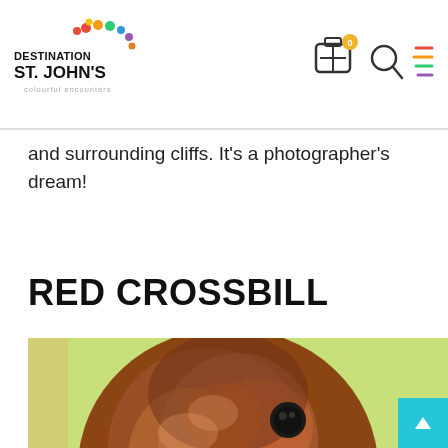[Figure (logo): Destination St. John's colourful encounters logo with coloured dots]
[Figure (other): Navigation icons: luggage/itinerary with badge 0, search magnifier, hamburger menu]
and surrounding cliffs. It's a photographer's dream!
RED CROSSBILL
[Figure (photo): Close-up photo of a Red Crossbill bird with reddish-brown plumage against a light green background]